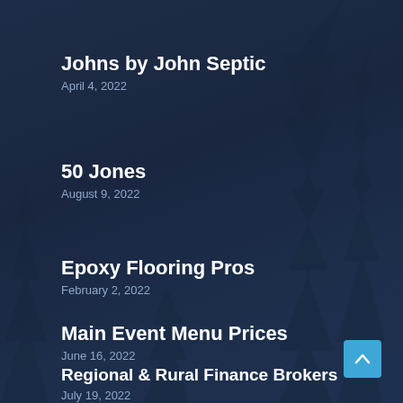Johns by John Septic
April 4, 2022
50 Jones
August 9, 2022
Epoxy Flooring Pros
February 2, 2022
Main Event Menu Prices
June 16, 2022
Regional & Rural Finance Brokers
July 19, 2022